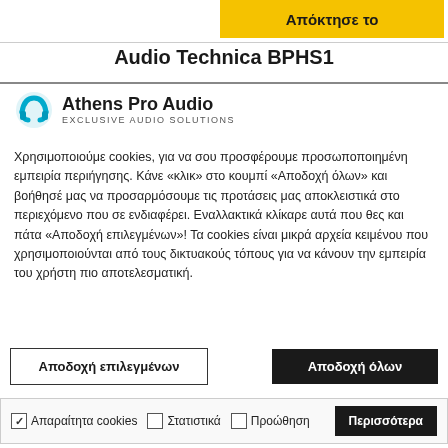Απόκτησε το
Audio Technica BPHS1
[Figure (logo): Athens Pro Audio logo with teal swoosh icon and text 'EXCLUSIVE AUDIO SOLUTIONS']
Χρησιμοποιούμε cookies, για να σου προσφέρουμε προσωποποιημένη εμπειρία περιήγησης. Κάνε «κλικ» στο κουμπί «Αποδοχή όλων» και βοήθησέ μας να προσαρμόσουμε τις προτάσεις μας αποκλειστικά στο περιεχόμενο που σε ενδιαφέρει. Εναλλακτικά κλίκαρε αυτά που θες και πάτα «Αποδοχή επιλεγμένων»! Τα cookies είναι μικρά αρχεία κειμένου που χρησιμοποιούνται από τους δικτυακούς τόπους για να κάνουν την εμπειρία του χρήστη πιο αποτελεσματική.
Αποδοχή επιλεγμένων
Αποδοχή όλων
Απαραίτητα cookies  Στατιστικά  Προώθηση  Περισσότερα